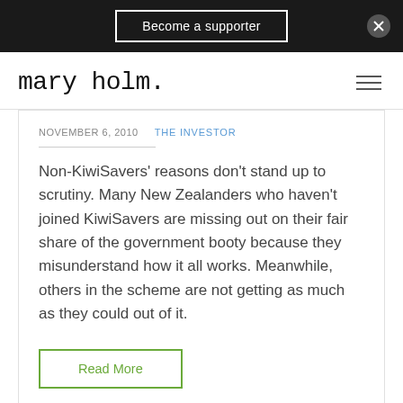Become a supporter
mary holm.
NOVEMBER 6, 2010   THE INVESTOR
Non-KiwiSavers' reasons don't stand up to scrutiny. Many New Zealanders who haven't joined KiwiSavers are missing out on their fair share of the government booty because they misunderstand how it all works. Meanwhile, others in the scheme are not getting as much as they could out of it.
Read More